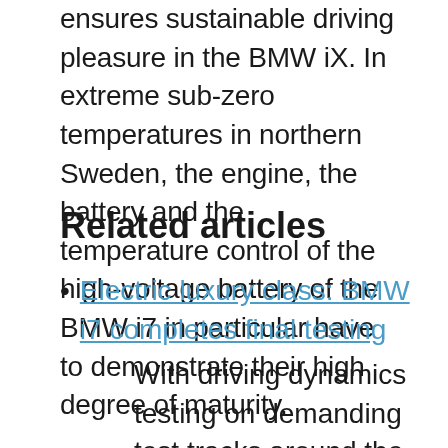ensures sustainable driving pleasure in the BMW iX. In extreme sub-zero temperatures in northern Sweden, the engine, the battery and the temperature control of the high-voltage battery of the BMW i7 in particular have to demonstrate their high degree of maturity.
Related articles
Electric luxury class: BMW i7 completes final testing
With driving dynamics testing on demanding test tracks around the world, the series development process for the BMW i7, the only purely electrically...